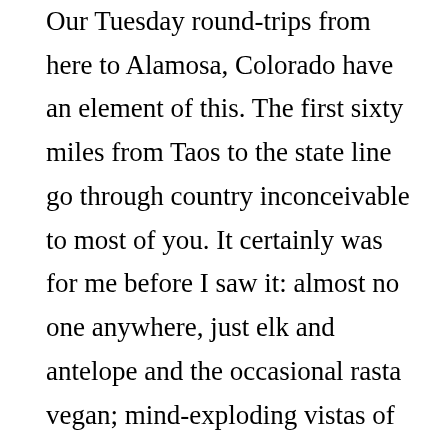Our Tuesday round-trips from here to Alamosa, Colorado have an element of this. The first sixty miles from Taos to the state line go through country inconceivable to most of you. It certainly was for me before I saw it: almost no one anywhere, just elk and antelope and the occasional rasta vegan; mind-exploding vistas of rock and sagebrush; snow-capped mountains that go one forever; a sky so big that you could die and it would be all right. Driving back at night requires super-human concentration or impairment so extreme you never think about it. There are no shoulders and the pavement is essentially unmarked. Semis loaded up with hay (no running lights!) shoot by with a roar on their way to horsey villas in the south. If the light reflecting from your headlights moves, you'd better already be on the brakes. Running all this in the rain deserves a medal! If you